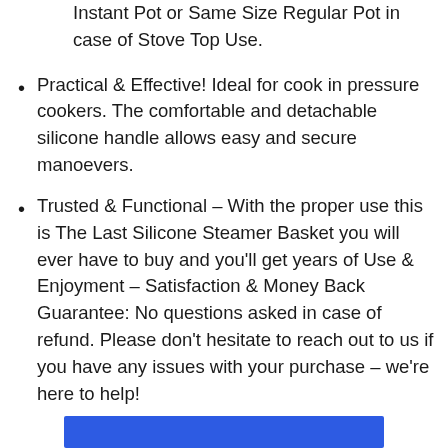Steamer. A perfect fit for the 6 Qt. Instant Pot or Same Size Regular Pot in case of Stove Top Use.
Practical & Effective! Ideal for cook in pressure cookers. The comfortable and detachable silicone handle allows easy and secure manoevers.
Trusted & Functional – With the proper use this is The Last Silicone Steamer Basket you will ever have to buy and you'll get years of Use & Enjoyment – Satisfaction & Money Back Guarantee: No questions asked in case of refund. Please don't hesitate to reach out to us if you have any issues with your purchase – we're here to help!